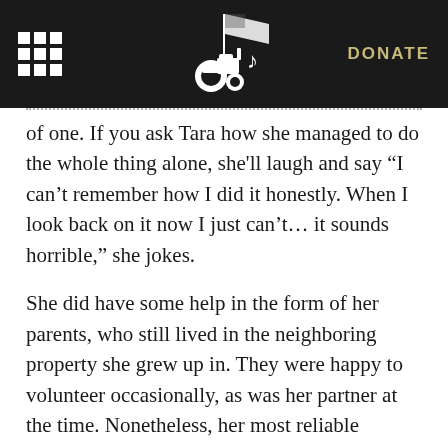DONATE
of one. If you ask Tara how she managed to do the whole thing alone, she'll laugh and say “I can’t remember how I did it honestly. When I look back on it now I just can’t… it sounds horrible,” she jokes.
She did have some help in the form of her parents, who still lived in the neighboring property she grew up in. They were happy to volunteer occasionally, as was her partner at the time. Nonetheless, her most reliable helpers were her CSA recipients. They were thrilled to have a chance to commune with nature, to be on Tara’s